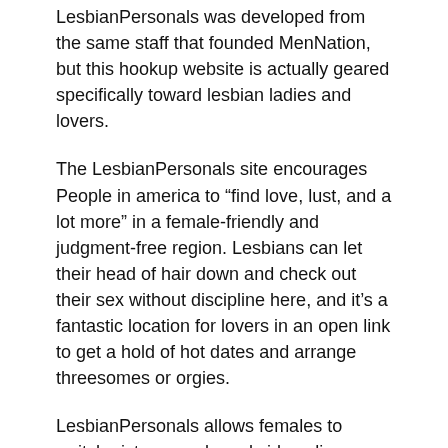LesbianPersonals was developed from the same staff that founded MenNation, but this hookup website is actually geared specifically toward lesbian ladies and lovers.
The LesbianPersonals site encourages People in america to “find love, lust, and a lot more” in a female-friendly and judgment-free region. Lesbians can let their head of hair down and check out their sex without discipline here, and it’s a fantastic location for lovers in an open link to get a hold of hot dates and arrange threesomes or orgies.
LesbianPersonals allows females to switch pictures and send video clip messages to ignite interest and turn-up the warmth in an online cam, and its particular personal chats typically lead to steamy IRL experiences.
LEADING “OVER 40” US DATING SITES